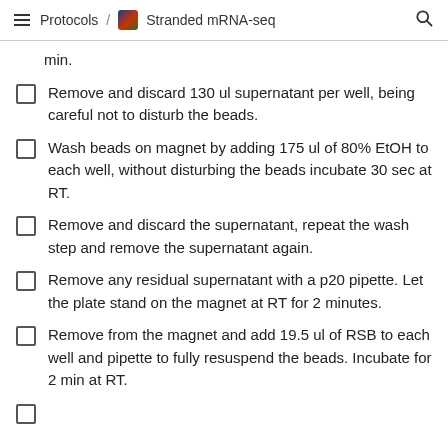Protocols / Stranded mRNA-seq
min.
Remove and discard 130 ul supernatant per well, being careful not to disturb the beads.
Wash beads on magnet by adding 175 ul of 80% EtOH to each well, without disturbing the beads incubate 30 sec at RT.
Remove and discard the supernatant, repeat the wash step and remove the supernatant again.
Remove any residual supernatant with a p20 pipette. Let the plate stand on the magnet at RT for 2 minutes.
Remove from the magnet and add 19.5 ul of RSB to each well and pipette to fully resuspend the beads. Incubate for 2 min at RT.
Centrifuge at 800...